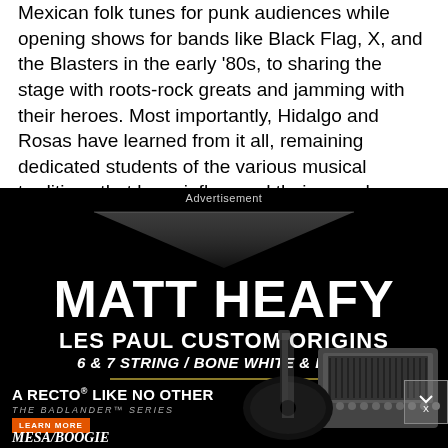Mexican folk tunes for punk audiences while opening shows for bands like Black Flag, X, and the Blasters in the early '80s, to sharing the stage with roots-rock greats and jamming with their heroes. Most importantly, Hidalgo and Rosas have learned from it all, remaining dedicated students of the various musical traditions that have influenced their sound.
[Figure (infographic): Advertisement for Mesa/Boogie featuring Matt Heafy Les Paul Custom Origins guitar. Black background with large white bold text 'MATT HEAFY', subtitle 'LES PAUL CUSTOM ORIGINS', '6 & 7 STRING / BONE WHITE & EBONY'. Lower section shows 'A RECTO® LIKE NO OTHER' and 'THE BADLANDER™ SERIES' with LEARN MORE button, Mesa/Boogie logo, and product images of guitar and amp.]